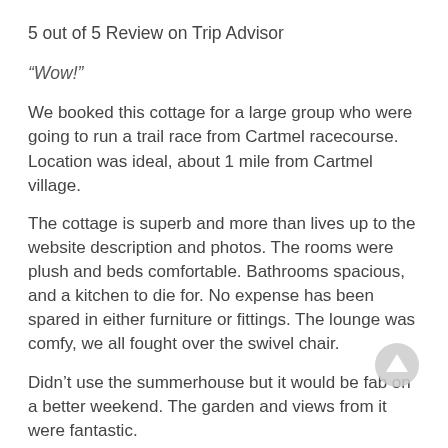5 out of 5 Review on Trip Advisor
“Wow!”
We booked this cottage for a large group who were going to run a trail race from Cartmel racecourse. Location was ideal, about 1 mile from Cartmel village.
The cottage is superb and more than lives up to the website description and photos. The rooms were plush and beds comfortable. Bathrooms spacious, and a kitchen to die for. No expense has been spared in either furniture or fittings. The lounge was comfy, we all fought over the swivel chair.
Didn’t use the summerhouse but it would be fab on a better weekend. The garden and views from it were fantastic.
Probably not the cheapest around but definitely one